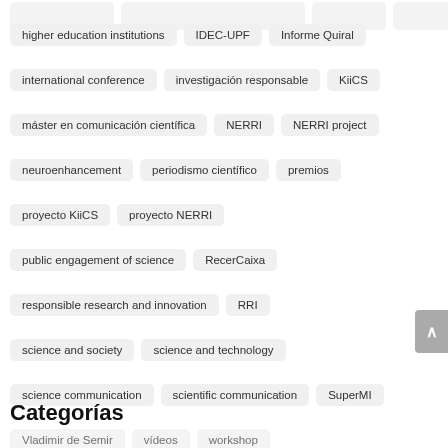higher education institutions
IDEC-UPF
Informe Quiral
international conference
investigación responsable
KiiCS
máster en comunicación científica
NERRI
NERRI project
neuroenhancement
periodismo científico
premios
proyecto KiiCS
proyecto NERRI
public engagement of science
RecerCaixa
responsible research and innovation
RRI
science and society
science and technology
science communication
scientific communication
SuperMI
Vladimir de Semir
vídeos
workshop
Categorías